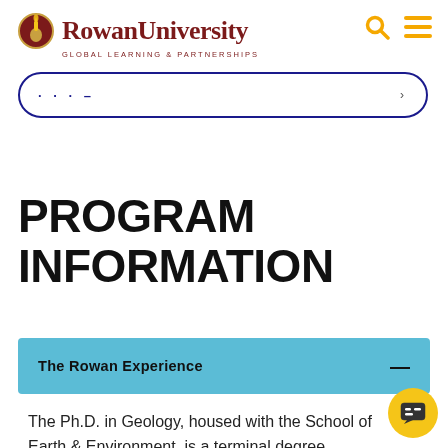Rowan University GLOBAL LEARNING & PARTNERSHIPS
[Figure (screenshot): Partial navigation pill/tab bar with blue border, showing truncated navigation dots and arrow]
PROGRAM INFORMATION
The Rowan Experience
The Ph.D. in Geology, housed with the School of Earth & Environment, is a terminal degree